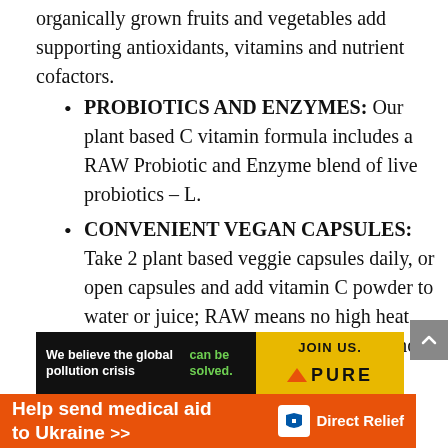organically grown fruits and vegetables add supporting antioxidants, vitamins and nutrient cofactors.
PROBIOTICS AND ENZYMES: Our plant based C vitamin formula includes a RAW Probiotic and Enzyme blend of live probiotics – L.
CONVENIENT VEGAN CAPSULES: Take 2 plant based veggie capsules daily, or open capsules and add vitamin C powder to water or juice; RAW means no high heat, and no synthetic binders or fillers commonly used in tablets.
[Figure (infographic): Advertisement banner with black left section saying 'We believe the global pollution crisis can be solved.' with yellow-green 'can be solved.' text, and yellow right section saying 'JOIN US.' with orange triangle and 'PURE' text below.]
[Figure (infographic): Orange Direct Relief banner saying 'Help send medical aid to Ukraine >>' with Direct Relief logo on the right.]